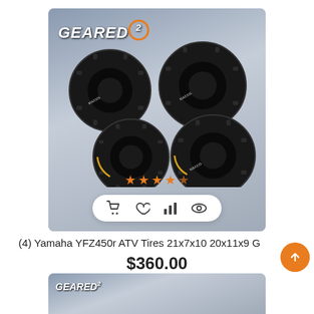[Figure (photo): Product image showing four ATV tires on grey background with GEARED2 logo, orange star rating and action icons]
(4) Yamaha YFZ450r ATV Tires 21x7x10 20x11x9 G
$360.00
[Figure (photo): Partial second product image at bottom with GEARED2 logo]